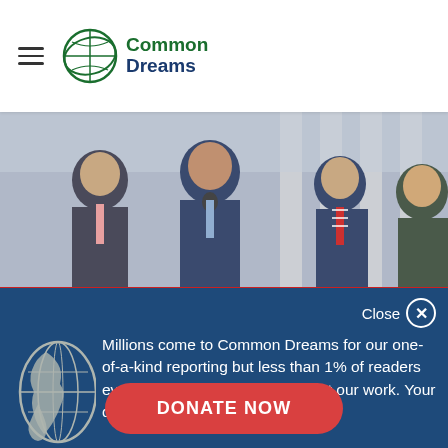Common Dreams
[Figure (photo): Men in suits standing at a microphone outdoors, appearing to be at a press conference in front of a building with columns]
Close ✕
Millions come to Common Dreams for our one-of-a-kind reporting but less than 1% of readers ever makes a donation to support our work. Your donations are our lifeblood.
DONATE NOW